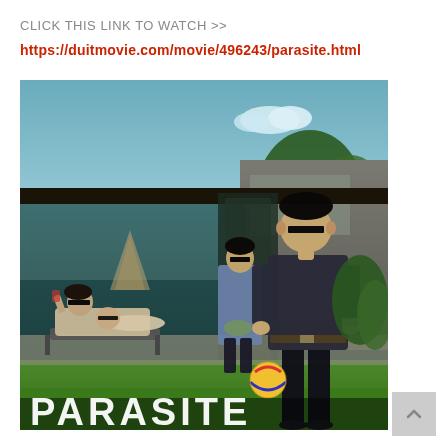CLICK THIS LINK TO WATCH >>
https://duitmovie.com/movie/496243/parasite.html
[Figure (photo): Movie poster for 'Parasite' (Bong Joon-ho film) showing characters in front of a modern house, with the title PARASITE partially visible at the bottom. Characters have black bars over their eyes.]